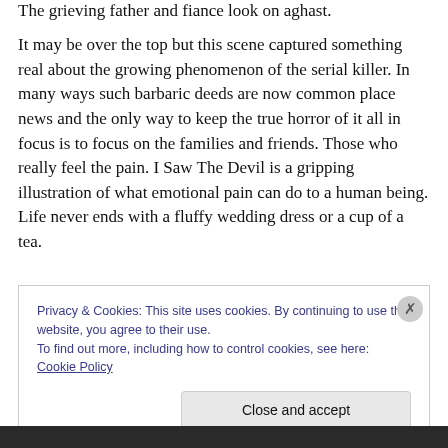The grieving father and fiance look on aghast.
It may be over the top but this scene captured something real about the growing phenomenon of the serial killer. In many ways such barbaric deeds are now common place news and the only way to keep the true horror of it all in focus is to focus on the families and friends. Those who really feel the pain. I Saw The Devil is a gripping illustration of what emotional pain can do to a human being. Life never ends with a fluffy wedding dress or a cup of a tea.
Privacy & Cookies: This site uses cookies. By continuing to use this website, you agree to their use.
To find out more, including how to control cookies, see here: Cookie Policy
Close and accept